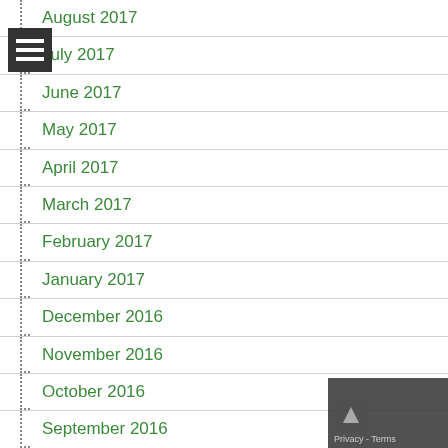August 2017
July 2017
June 2017
May 2017
April 2017
March 2017
February 2017
January 2017
December 2016
November 2016
October 2016
September 2016
August 2016
July 2016
June 2016
May 2016
April 2016
March 2016
February 2016
January 2016
December 2015
November 2015
October 2015